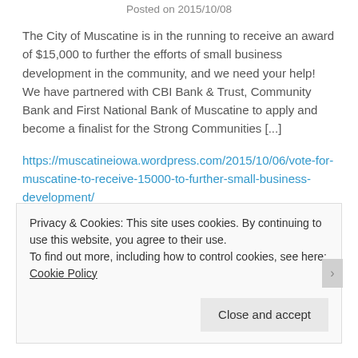Posted on 2015/10/08
The City of Muscatine is in the running to receive an award of $15,000 to further the efforts of small business development in the community, and we need your help! We have partnered with CBI Bank & Trust, Community Bank and First National Bank of Muscatine to apply and become a finalist for the Strong Communities [...]
https://muscatineiowa.wordpress.com/2015/10/06/vote-for-muscatine-to-receive-15000-to-further-small-business-development/
Privacy & Cookies: This site uses cookies. By continuing to use this website, you agree to their use.
To find out more, including how to control cookies, see here: Cookie Policy
Close and accept